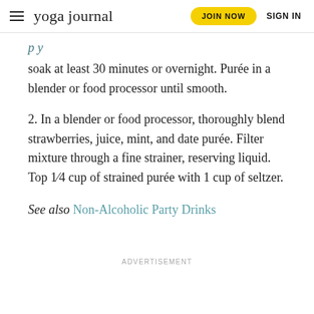yoga journal | JOIN NOW | SIGN IN
soak at least 30 minutes or overnight. Purée in a blender or food processor until smooth.
2. In a blender or food processor, thoroughly blend strawberries, juice, mint, and date purée. Filter mixture through a fine strainer, reserving liquid. Top 1⁄4 cup of strained purée with 1 cup of seltzer.
See also Non-Alcoholic Party Drinks
ADVERTISEMENT